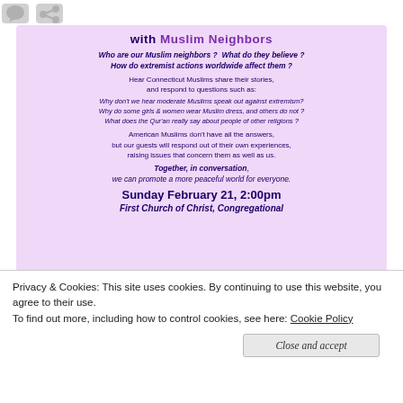[Figure (screenshot): Social media icon buttons (comment and share) at top left]
[Figure (infographic): Pink/lavender flyer about a Muslim Neighbors community conversation event. Includes title with Muslim Neighbors in purple, questions in bold italic, body text about Connecticut Muslims sharing stories, italic rhetorical questions, body text about American Muslims, bold italic Together in conversation closing, and date/location: Sunday February 21 2:00pm First Church of Christ Congregational]
Privacy & Cookies: This site uses cookies. By continuing to use this website, you agree to their use.
To find out more, including how to control cookies, see here: Cookie Policy
Close and accept